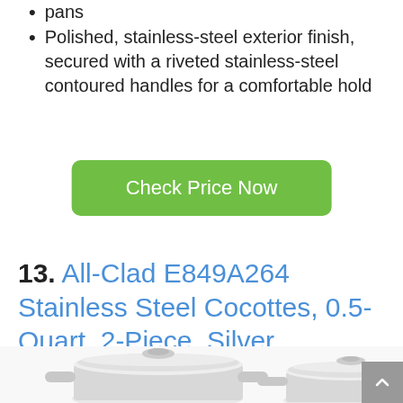pans
Polished, stainless-steel exterior finish, secured with a riveted stainless-steel contoured handles for a comfortable hold
Check Price Now
13. All-Clad E849A264 Stainless Steel Cocottes, 0.5-Quart, 2-Piece, Silver
[Figure (photo): Two stainless steel cocottes with lids, All-Clad E849A264, silver finish]